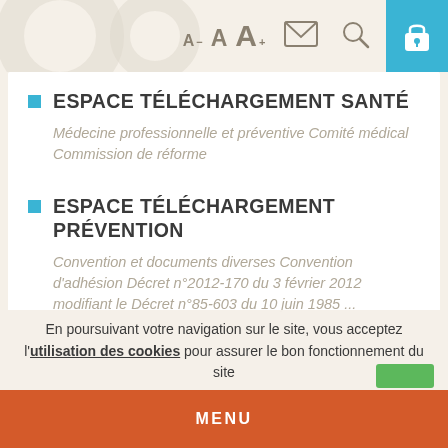[Figure (screenshot): Top toolbar with font size controls (A- A A+), envelope icon, search icon, and blue lock icon in top-right corner]
ESPACE TÉLÉCHARGEMENT SANTÉ
Médecine professionnelle et préventive Comité médical Commission de réforme
ESPACE TÉLÉCHARGEMENT PRÉVENTION
Convention et documents diverses Convention d'adhésion Décret n°2012-170 du 3 février 2012 modifiant le Décret n°85-603 du 10 juin 1985 ...
En poursuivant votre navigation sur le site, vous acceptez l'utilisation des cookies pour assurer le bon fonctionnement du site
MENU